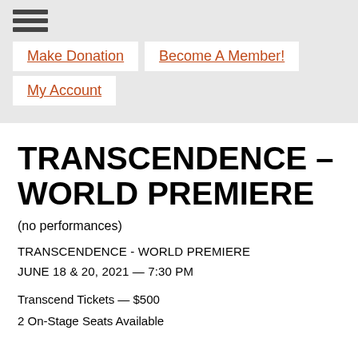Make Donation | Become A Member! | My Account
TRANSCENDENCE – WORLD PREMIERE
(no performances)
TRANSCENDENCE - WORLD PREMIERE
JUNE 18 & 20, 2021 — 7:30 PM
Transcend Tickets — $500
2 On-Stage Seats Available